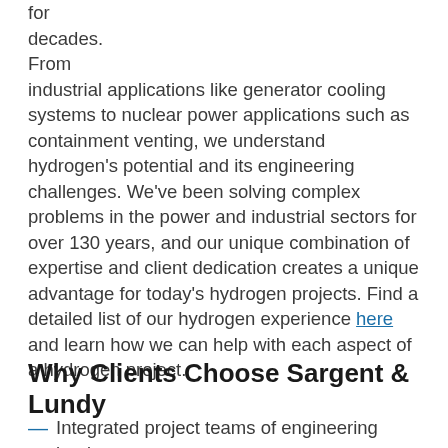for decades. From industrial applications like generator cooling systems to nuclear power applications such as containment venting, we understand hydrogen's potential and its engineering challenges. We've been solving complex problems in the power and industrial sectors for over 130 years, and our unique combination of expertise and client dedication creates a unique advantage for today's hydrogen projects. Find a detailed list of our hydrogen experience here and learn how we can help with each aspect of a hydrogen project.
Why Clients Choose Sargent & Lundy
Integrated project teams of engineering leads